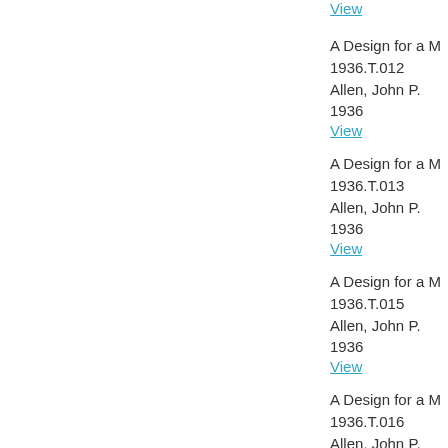View
A Design for a M
1936.T.012
Allen, John P.
1936
View
A Design for a M
1936.T.013
Allen, John P.
1936
View
A Design for a M
1936.T.015
Allen, John P.
1936
View
A Design for a M
1936.T.016
Allen, John P.
1936
View